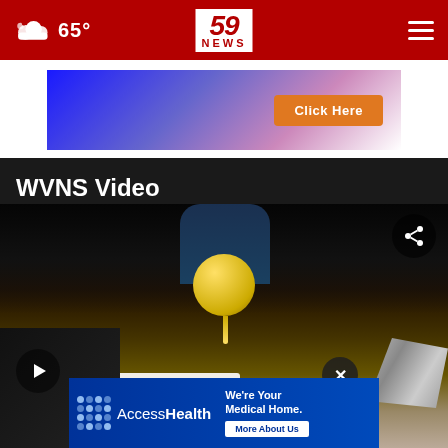65° | 59 NEWS
[Figure (screenshot): Advertisement banner with blue gradient background and orange 'Click Here' button]
WVNS Video
[Figure (screenshot): Video thumbnail showing a mechanical tool over food, with share icon overlay, play button, close button, and AccessHealth advertisement overlay at bottom]
[Figure (screenshot): AccessHealth advertisement: We're Your Medical Home. More About Us]